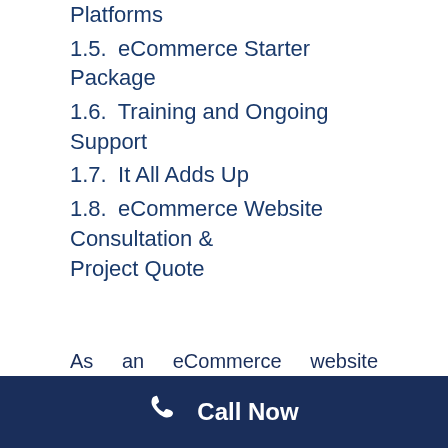Platforms
1.5.  eCommerce Starter Package
1.6.  Training and Ongoing Support
1.7.  It All Adds Up
1.8.  eCommerce Website Consultation & Project Quote
As an eCommerce website developer (for more than a decade now) I get asked the “how much” question often. Sometimes the how much does an eCommerce website cost question is better
Call Now